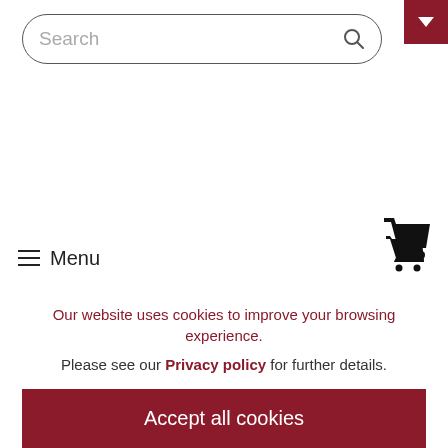[Figure (screenshot): Dark red dropdown/menu corner button with a white chevron/down-arrow icon in the top-right corner]
[Figure (screenshot): Search bar with rounded border, placeholder text 'Search' and a magnifying glass icon on the right]
[Figure (screenshot): Navigation row with hamburger menu icon and 'Menu' text on the left, and a shopping cart icon on the right]
Our website uses cookies to improve your browsing experience.
Please see our Privacy policy for further details.
Accept all cookies